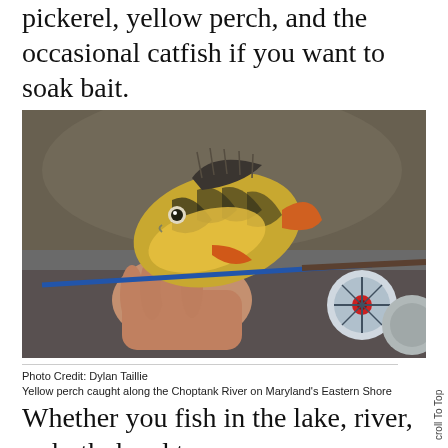pickerel, yellow perch, and the occasional catfish if you want to soak bait.
[Figure (photo): A hand holding a yellow perch fish, with a fly fishing rod and reel visible in the background on what appears to be a boat. The fish has distinctive dark vertical stripes on a yellow-green body with orange-red fins.]
Photo Credit: Dylan Taillie
Yellow perch caught along the Choptank River on Maryland's Eastern Shore
Whether you fish in the lake, river, or both, head to